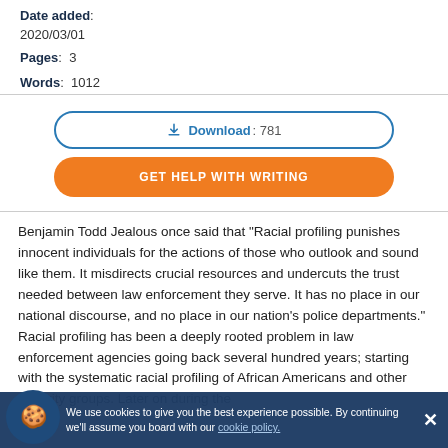Date added:
2020/03/01
Pages: 3
Words: 1012
Download: 781
GET HELP WITH WRITING
Benjamin Todd Jealous once said that “Racial profiling punishes innocent individuals for the actions of those who outlook and sound like them. It misdirects crucial resources and undercuts the trust needed between law enforcement they serve. It has no place in our national discourse, and no place in our nation’s police departments.” Racial profiling has been a deeply rooted problem in law enforcement agencies going back several hundred years; starting with the systematic racial profiling of African Americans and other minority groups. Later on during the
We use cookies to give you the best experience possible. By continuing we’ll assume you board with our cookie policy.